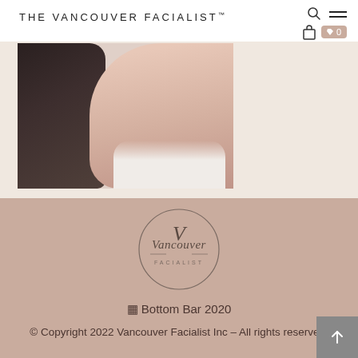THE VANCOUVER FACIALIST™
[Figure (photo): A woman lying down receiving a facial treatment, with dark cloth/towel near face and neck visible against white clothing]
[Figure (logo): Vancouver Facialist circular logo with script text 'Vancouver' and 'FACIALIST' around the circle]
⊟ Bottom Bar 2020
© Copyright 2022 Vancouver Facialist Inc – All rights reserved.